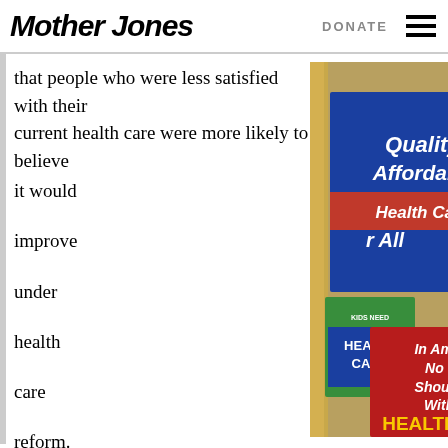Mother Jones | DONATE
that people who were less satisfied with their current health care were more likely to believe it would improve under health care reform. That clearly hasn't
[Figure (photo): Collection of health care reform protest signs including 'Quality, Affordable Health Care For All', 'Kids Need Health Care', 'In America No One Should Go Without Health Care', and other related signs]